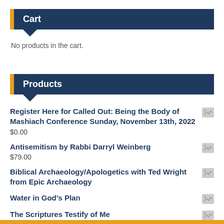Cart
No products in the cart.
Products
Register Here for Called Out: Being the Body of Mashiach Conference Sunday, November 13th, 2022
$0.00
Antisemitism by Rabbi Darryl Weinberg
$79.00
Biblical Archaeology/Apologetics with Ted Wright from Epic Archaeology
Water in God’s Plan
The Scriptures Testify of Me